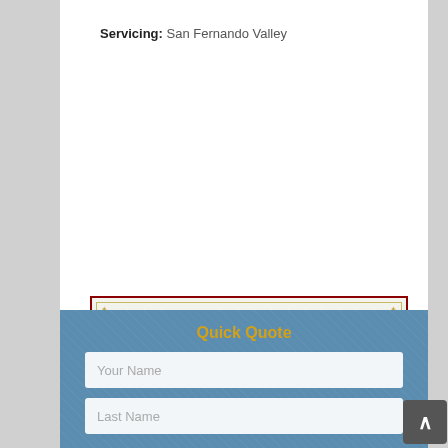Servicing: San Fernando Valley
[Figure (illustration): Decorative banner button with ornate border. Text reads 'Make an online Reservation' in serif and script fonts, with dark red/maroon color for the script portion.]
Quick Quote
Your Name
Last Name
Email Address